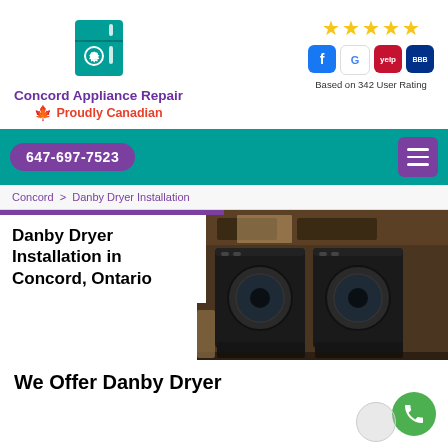[Figure (logo): Teal refrigerator with gear/wrench icon - Concord Appliance Repair logo]
Concord Appliance Repair
🍁 Proudly Canadian
[Figure (infographic): Five gold stars rating with Facebook, Google, Yelp, BBB social/review icons. Based on 342 User Rating.]
Based on 342 User Rating
647-697-7523
Concord > Danby Dryer Installation
Danby Dryer Installation in Concord, Ontario
[Figure (photo): Photo of dark front-loading washer and dryer appliances in a laundry room with wooden shelving]
We Offer Danby Dryer...